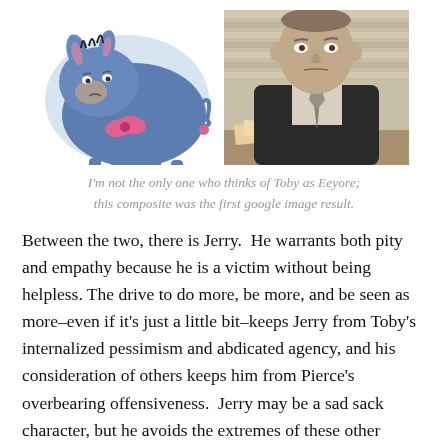[Figure (photo): Side by side composite: left is Eeyore cartoon character (blue donkey with pink bow), right is photo of Toby (a man in a dark suit and tie seated at a desk with blinds in background)]
I'm not the only one who thinks of Toby as Eeyore; this composite was the first google image result.
Between the two, there is Jerry.  He warrants both pity and empathy because he is a victim without being helpless. The drive to do more, be more, and be seen as more–even if it's just a little bit–keeps Jerry from Toby's internalized pessimism and abdicated agency, and his consideration of others keeps him from Pierce's overbearing offensiveness.  Jerry may be a sad sack character, but he avoids the extremes of these other characters, making him more accessible emotionally